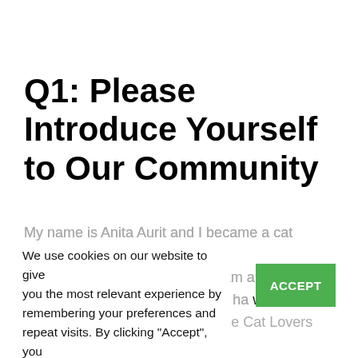Q1: Please Introduce Yourself to Our Community
My name is Anita Aurit and I became a cat blogger in a rather serendipitous way. I am a published author in two genres and when I had a story published in Chicken Soup for the Cat Lovers Soul, My Very Good, Very Bad Cat I was encouraged by their PR people to start a blog to promote the story. I didn't want to blog about cat facts or any other subjects I found in other cat blogs so I
We use cookies on our website to give you the most relevant experience by remembering your preferences and repeat visits. By clicking "Accept", you consent to the use of ALL the cookies.